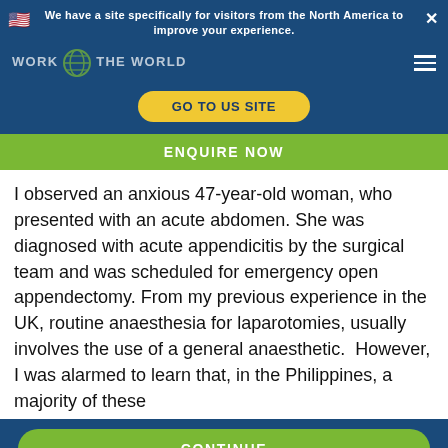We have a site specifically for visitors from the North America to improve your experience.
GO TO US SITE
ENQUIRE NOW
I observed an anxious 47-year-old woman, who presented with an acute abdomen. She was diagnosed with acute appendicitis by the surgical team and was scheduled for emergency open appendectomy. From my previous experience in the UK, routine anaesthesia for laparotomies, usually involves the use of a general anaesthetic.  However, I was alarmed to learn that, in the Philippines, a majority of these
CONTINUE
We use cookies to improve your experience using this site. If you continue to use the site, we will assume that you agree to us using cookies. To find out more read our cookie policy.